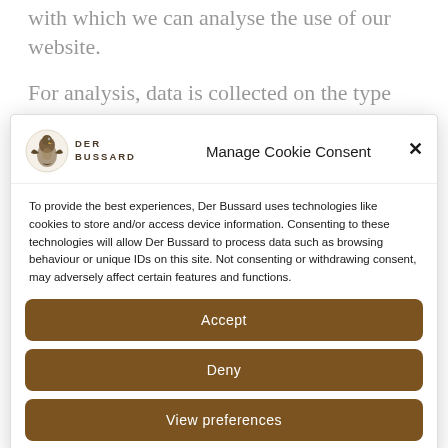with which we can analyse the use of our website.
For analysis, data is collected on the type and
[Figure (screenshot): Cookie consent modal dialog for Der Bussard website, containing logo, title 'Manage Cookie Consent', body text, and three buttons: Accept, Deny, View preferences]
To provide the best experiences, Der Bussard uses technologies like cookies to store and/or access device information. Consenting to these technologies will allow Der Bussard to process data such as browsing behaviour or unique IDs on this site. Not consenting or withdrawing consent, may adversely affect certain features and functions.
Accept
Deny
View preferences